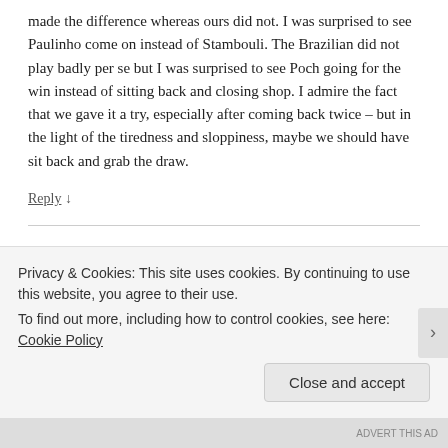made the difference whereas ours did not. I was surprised to see Paulinho come on instead of Stambouli. The Brazilian did not play badly per se but I was surprised to see Poch going for the win instead of sitting back and closing shop. I admire the fact that we gave it a try, especially after coming back twice – but in the light of the tiredness and sloppiness, maybe we should have sit back and grab the draw.
Reply ↓
AnythingButPenalties  POST AUTHOR
February 14, 2015 at 7:21 pm
Privacy & Cookies: This site uses cookies. By continuing to use this website, you agree to their use.
To find out more, including how to control cookies, see here: Cookie Policy
Close and accept